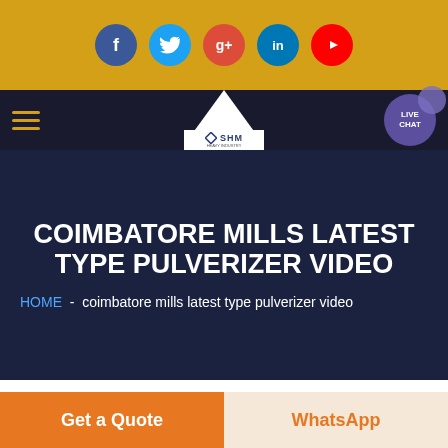[Figure (screenshot): Social media icons bar with Facebook, Twitter, Google+, LinkedIn, YouTube on golden background]
[Figure (screenshot): Navigation bar with hamburger menu, SHM logo with triangle, and LIVE CHAT button]
COIMBATORE MILLS LATEST TYPE PULVERIZER VIDEO
HOME  -  coimbatore mills latest type pulverizer video
[Figure (photo): Partial image of machinery or industrial equipment at bottom]
Get a Quote
WhatsApp